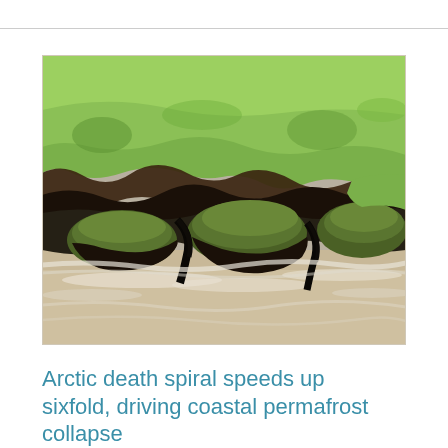[Figure (photo): Aerial photograph of Arctic coastal permafrost collapse showing green tundra vegetation at top eroding into dark peaty permafrost blocks and sediment-laden water below, illustrating coastal erosion and permafrost thaw slumping.]
Arctic death spiral speeds up sixfold, driving coastal permafrost collapse